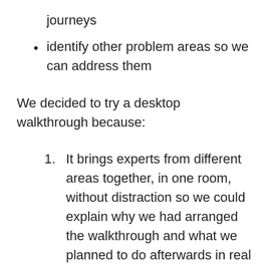journeys
identify other problem areas so we can address them
We decided to try a desktop walkthrough because:
1. It brings experts from different areas together, in one room, without distraction so we could explain why we had arranged the walkthrough and what we planned to do afterwards in real stores. Each person has a unique perspective and can raise